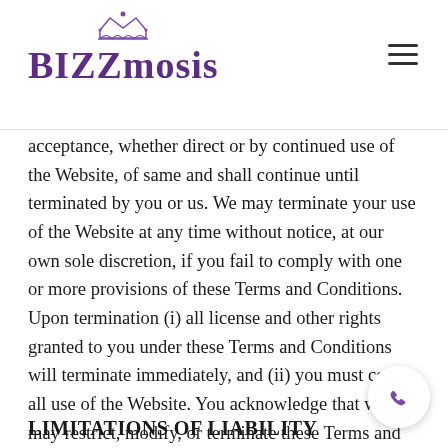Bizzmosis
acceptance, whether direct or by continued use of the Website, of same and shall continue until terminated by you or us. We may terminate your use of the Website at any time without notice, at our own sole discretion, if you fail to comply with one or more provisions of these Terms and Conditions. Upon termination (i) all license and other rights granted to you under these Terms and Conditions will terminate immediately, and (ii) you must cease all use of the Website. You acknowledge that we may restrict, modify, or terminate these Terms and Conditions, without liability, for its convenience or if you violate Agreement or any law, rule, or regulation.
LIMITATIONS OF LIABILITY